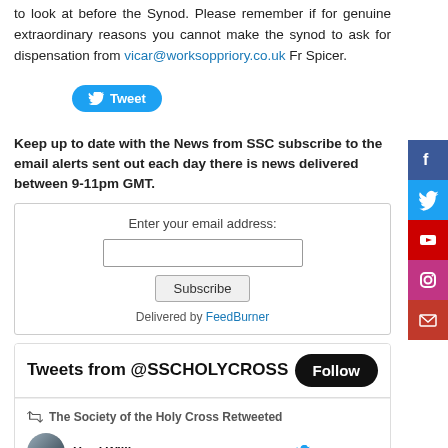to look at before the Synod. Please remember if for genuine extraordinary reasons you cannot make the synod to ask for dispensation from vicar@worksoppriory.co.uk Fr Spicer.
[Figure (other): Twitter Tweet button in blue rounded rectangle]
Keep up to date with the News from SSC subscribe to the email alerts sent out each day there is news delivered between 9-11pm GMT.
Enter your email address:
[Figure (other): Email subscribe form with text input, Subscribe button, and Delivered by FeedBurner text]
[Figure (other): Twitter feed widget showing Tweets from @SSCHOLYCROSS with Follow button, and a retweet by The Society of the Holy Cross from Harri Willia... @WalsinghamVi... Aug 11: I pray for the repose of the soul of my predecessor, Fr Patton, who died on this day in]
[Figure (other): Social media sidebar with Facebook, Twitter, YouTube, Instagram, and Email icons]